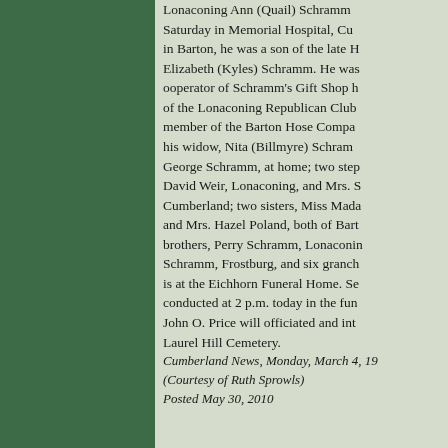Lonaconing Ann (Quail) Schramm... Saturday in Memorial Hospital, Cumberland; in Barton, he was a son of the late H. Elizabeth (Kyles) Schramm. He was ooperator of Schramm's Gift Shop h of the Lonaconing Republican Club, member of the Barton Hose Company his widow, Nita (Billmyre) Schramm George Schramm, at home; two step David Weir, Lonaconing, and Mrs. S Cumberland; two sisters, Miss Mada and Mrs. Hazel Poland, both of Barton brothers, Perry Schramm, Lonaconi Schramm, Frostburg, and six granch is at the Eichhorn Funeral Home. Se conducted at 2 p.m. today in the fun John O. Price will officiated and inte Laurel Hill Cemetery.
Cumberland News, Monday, March 4, 19 (Courtesy of Ruth Sprowls) Posted May 30, 2010